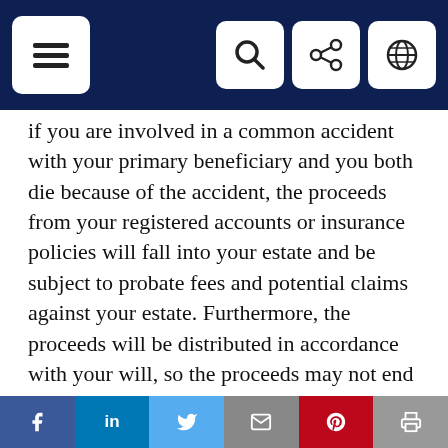Navigation bar with menu, search, share, and globe icons
if you are involved in a common accident with your primary beneficiary and you both die because of the accident, the proceeds from your registered accounts or insurance policies will fall into your estate and be subject to probate fees and potential claims against your estate. Furthermore, the proceeds will be distributed in accordance with your will, so the proceeds may not end up in the hands of those you would have chosen.
Name a successor annuitant/holder: Instead of naming a beneficiary, you can name a successor annuitant for your RRIF and a successor holder for your TFSA, but it has to be your spouse or common-law partner. Your spouse can take ownership of your RRIF or
f  in  (twitter)  (mail)  p  (print)